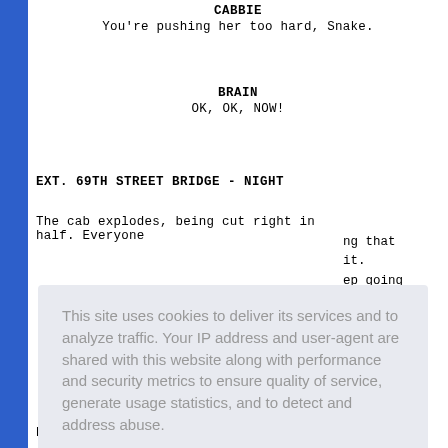CABBIE
You're pushing her too hard, Snake.
BRAIN
OK, OK, NOW!
EXT. 69TH STREET BRIDGE - NIGHT
The cab explodes, being cut right in half. Everyone [partial text] ng that it.
[partial] ep going
[partial] bridge.
[Figure (screenshot): Cookie consent overlay with text: 'This site uses cookies to deliver its services and to analyze traffic. Your IP address and user-agent are shared with this website along with performance and security metrics to ensure quality of service, generate usage statistics, and to detect and address abuse. Learn more' and a 'Got it!' button]
[partial] a mine [partial] dy in
GROCIL
Brain...